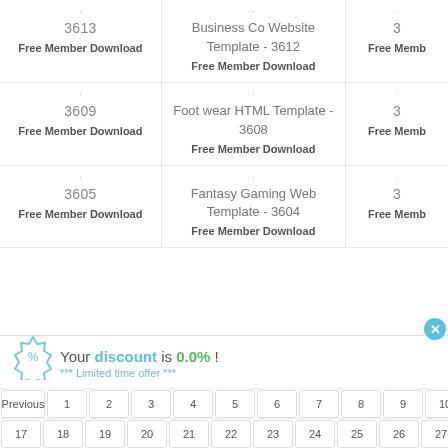3613 | Free Member Download
Business Co Website Template - 3612 | Free Member Download
3 | Free Memb...
3609 | Free Member Download
Foot wear HTML Template - 3608 | Free Member Download
3 | Free Memb...
3605 | Free Member Download
Fantasy Gaming Web Template - 3604 | Free Member Download
3 | Free Memb...
Your discount is 0.0% !
*** Limited time offer ***
Previous 1 2 3 4 5 6 7 8 9 10
17 18 19 20 21 22 23 24 25 26 27